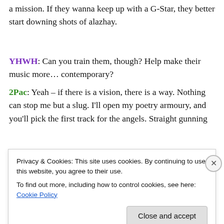a mission. If they wanna keep up with a G-Star, they better start downing shots of alazhay.
YHWH: Can you train them, though? Help make their music more… contemporary?
2Pac: Yeah – if there is a vision, there is a way. Nothing can stop me but a slug. I'll open my poetry armoury, and you'll pick the first track for the angels. Straight gunning
Privacy & Cookies: This site uses cookies. By continuing to use this website, you agree to their use.
To find out more, including how to control cookies, see here: Cookie Policy
Close and accept